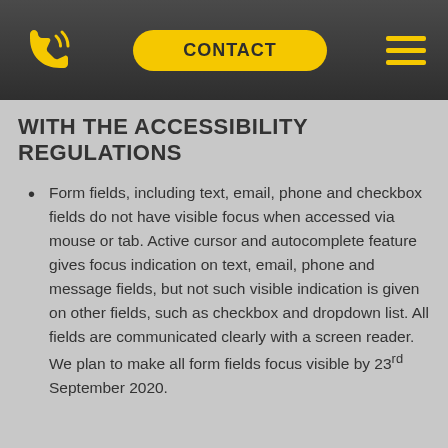CONTACT
WITH THE ACCESSIBILITY REGULATIONS
Form fields, including text, email, phone and checkbox fields do not have visible focus when accessed via mouse or tab. Active cursor and autocomplete feature gives focus indication on text, email, phone and message fields, but not such visible indication is given on other fields, such as checkbox and dropdown list. All fields are communicated clearly with a screen reader. We plan to make all form fields focus visible by 23rd September 2020.